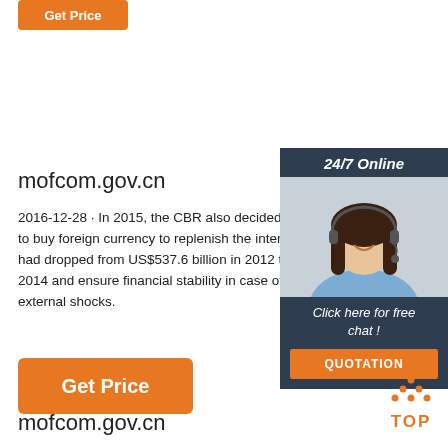[Figure (other): Orange 'Get Price' button at top left]
mofcom.gov.cn
2016-12-28 · In 2015, the CBR also decided to lau to buy foreign currency to replenish the internationa had dropped from US$537.6 billion in 2012 to US$: 2014 and ensure financial stability in case of long-la external shocks.
[Figure (photo): Advertisement banner: 24/7 Online, woman with headset, Click here for free chat!, QUOTATION button]
[Figure (other): Orange 'Get Price' button at bottom left]
[Figure (logo): TOP logo with orange dots arranged in triangle above the word TOP]
mofcom.gov.cn